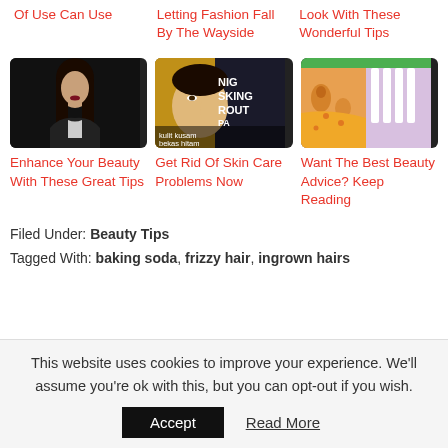Of Use Can Use
Letting Fashion Fall By The Wayside
Look With These Wonderful Tips
[Figure (photo): Woman with long dark hair in dark outfit against black background]
[Figure (photo): Woman touching her face with text 'NIC SKINC ROUT PA kulit kusam bekas hitam']
[Figure (illustration): Colorful illustration of skin cross-section showing pores]
Enhance Your Beauty With These Great Tips
Get Rid Of Skin Care Problems Now
Want The Best Beauty Advice? Keep Reading
Filed Under: Beauty Tips
Tagged With: baking soda, frizzy hair, ingrown hairs
This website uses cookies to improve your experience. We'll assume you're ok with this, but you can opt-out if you wish.